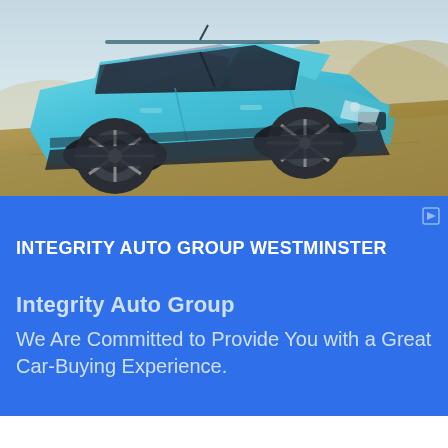[Figure (photo): A light blue Subaru crossover SUV driving on a dirt/gravel slope outdoors, photographed from a front three-quarter angle. The background shows a misty landscape.]
INTEGRITY AUTO GROUP WESTMINSTER
Integrity Auto Group
We Are Committed to Provide You with a Great Car-Buying Experience.